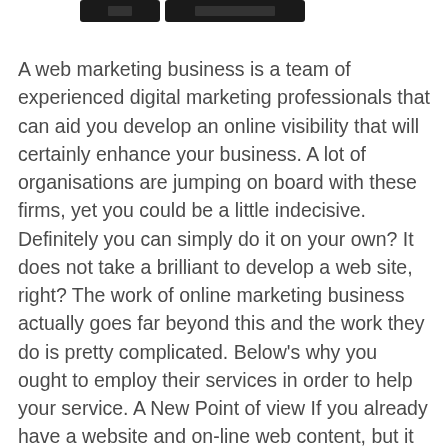[Figure (photo): Two dark/black rectangular UI elements (possibly phone or app screenshots) visible at the top of the page, partially cropped.]
A web marketing business is a team of experienced digital marketing professionals that can aid you develop an online visibility that will certainly enhance your business. A lot of organisations are jumping on board with these firms, yet you could be a little indecisive. Definitely you can simply do it on your own? It does not take a brilliant to develop a web site, right? The work of online marketing business actually goes far beyond this and the work they do is pretty complicated. Below's why you ought to employ their services in order to help your service. A New Point of view If you already have a website and on-line web content, but it just doesn't appear to be bringing in much traffic or obtaining you greater in the search results, a fresh look could be needed. When you've designed it, it's much more difficult to see the problems. An online marketing company could have a look at just what you